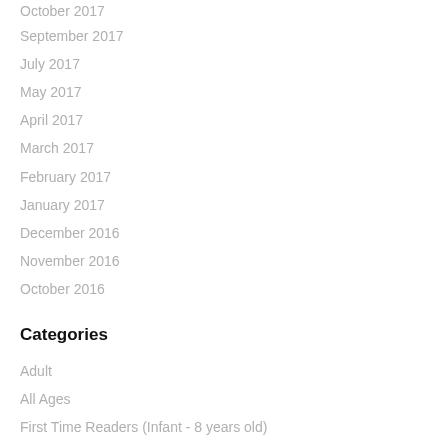October 2017
September 2017
July 2017
May 2017
April 2017
March 2017
February 2017
January 2017
December 2016
November 2016
October 2016
Categories
Adult
All Ages
First Time Readers (Infant - 8 years old)